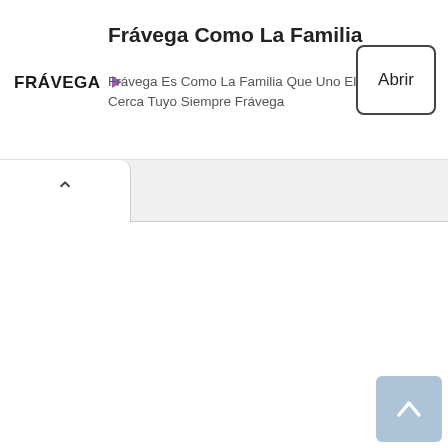[Figure (screenshot): Frávega app install banner with logo on the left, title 'Frávega Como La Familia', subtitle 'Frávega Es Como La Familia Que Uno Elige, Cerca Tuyo Siempre Frávega', and an 'Abrir' (Open) button on the right]
Frávega Como La Familia
Frávega Es Como La Familia Que Uno Elige, Cerca Tuyo Siempre Frávega
Abrir
[Figure (screenshot): Browser tab bar with active white tab showing a chevron up icon, on a light grey background]